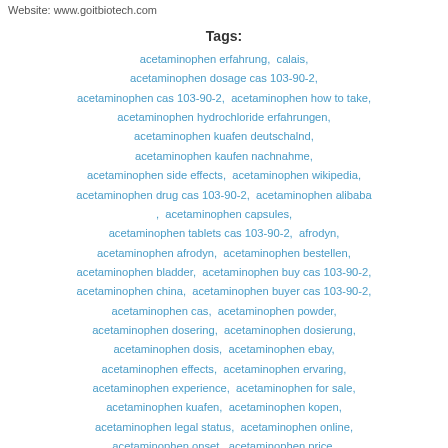Website: www.goitbiotech.com
Tags: acetaminophen erfahrung, calais, acetaminophen dosage cas 103-90-2, acetaminophen cas 103-90-2, acetaminophen how to take, acetaminophen hydrochloride erfahrungen, acetaminophen kuafen deutschalnd, acetaminophen kaufen nachnahme, acetaminophen side effects, acetaminophen wikipedia, acetaminophen drug cas 103-90-2, acetaminophen alibaba, acetaminophen capsules, acetaminophen tablets cas 103-90-2, afrodyn, acetaminophen afrodyn, acetaminophen bestellen, acetaminophen bladder, acetaminophen buy cas 103-90-2, acetaminophen china, acetaminophen buyer cas 103-90-2, acetaminophen cas, acetaminophen powder, acetaminophen dosering, acetaminophen dosierung, acetaminophen dosis, acetaminophen ebay, acetaminophen effects, acetaminophen ervaring, acetaminophen experience, acetaminophen for sale, acetaminophen kuafen, acetaminophen kopen, acetaminophen legal status, acetaminophen online, acetaminophen onset, acetaminophen price, acetaminophen reddit, acetaminophen cas 103-90-2, acetaminophen report, acetaminophen review, acetaminophen safety cas 103-90-2, acetaminophen solubility, acetaminophen source